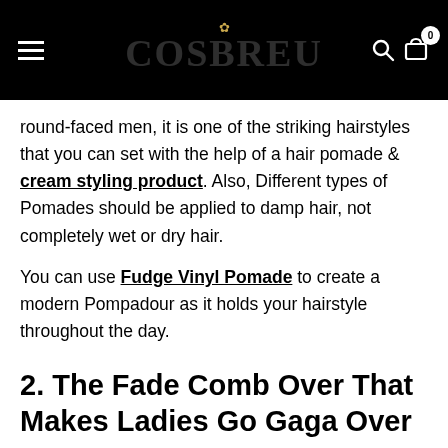COSBREU (logo/website header with hamburger menu, search, and bag icons)
round-faced men, it is one of the striking hairstyles that you can set with the help of a hair pomade & cream styling product. Also, Different types of Pomades should be applied to damp hair, not completely wet or dry hair.
You can use Fudge Vinyl Pomade to create a modern Pompadour as it holds your hairstyle throughout the day.
2. The Fade Comb Over That Makes Ladies Go Gaga Over You!